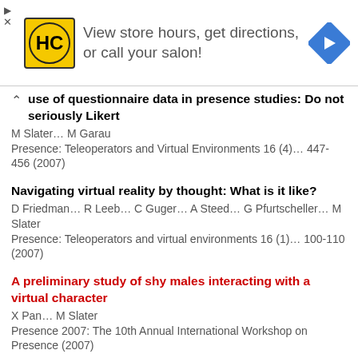[Figure (infographic): Advertisement banner with HC salon logo, text 'View store hours, get directions, or call your salon!', and a blue navigation arrow icon.]
use of questionnaire data in presence studies: Do not seriously Likert
M Slater… M Garau
Presence: Teleoperators and Virtual Environments 16 (4)… 447-456 (2007)
Navigating virtual reality by thought: What is it like?
D Friedman… R Leeb… C Guger… A Steed… G Pfurtscheller… M Slater
Presence: Teleoperators and virtual environments 16 (1)… 100-110 (2007)
A preliminary study of shy males interacting with a virtual character
X Pan… M Slater
Presence 2007: The 10th Annual International Workshop on Presence (2007)
Editorial notes: Changes in presence